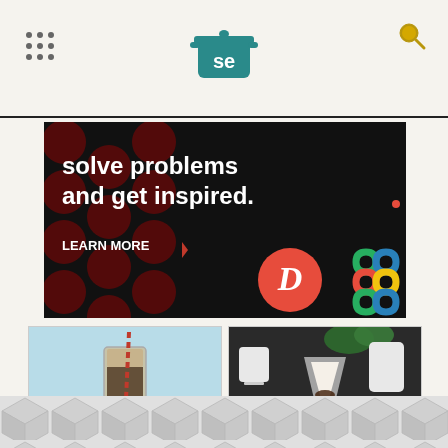Serious Eats (SE logo) navigation header
[Figure (screenshot): Advertisement banner with dark background showing red polka dots pattern, bold white text 'solve problems and get inspired.' with 'LEARN MORE' call to action, and brand logos including a red circle D logo and a colorful interlocking pattern logo]
[Figure (photo): Iced coffee drink in a tall glass with a striped straw, light blue background]
COFFEE
[Figure (photo): Pourover coffee brewing setup with a pour-over dripper, filter, and carafe on dark background with green plants]
We Tested 8 Pourover
[Figure (illustration): Geometric grey and white hexagonal/cube pattern at the bottom of the page]